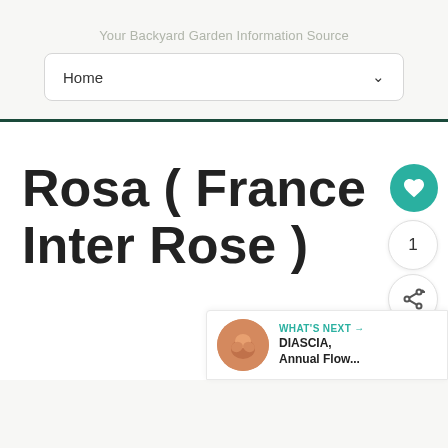Your Backyard Garden Information Source
Home
Rosa ( France Inter Rose )
1
[Figure (other): Circular teal heart button (favorite/like button)]
[Figure (other): Circular share button with share icon]
[Figure (other): What's Next card showing DIASCIA, Annual Flow... with thumbnail of orange flower]